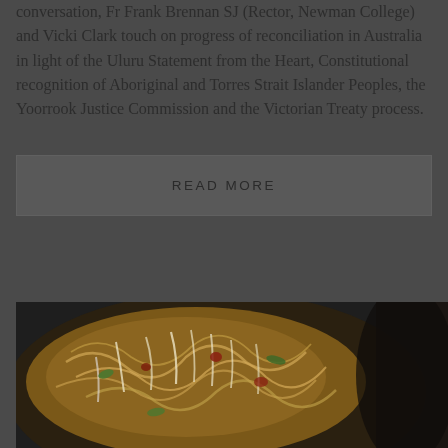conversation, Fr Frank Brennan SJ (Rector, Newman College) and Vicki Clark touch on progress of reconciliation in Australia in light of the Uluru Statement from the Heart, Constitutional recognition of Aboriginal and Torres Strait Islander Peoples, the Yoorrook Justice Commission and the Victorian Treaty process.
READ MORE
[Figure (photo): Close-up photograph of a bowl of noodle dish with vegetables and sauce, dark background]